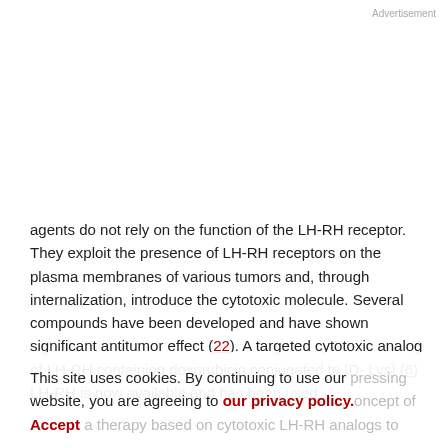Advertisement
agents do not rely on the function of the LH-RH receptor. They exploit the presence of LH-RH receptors on the plasma membranes of various tumors and, through internalization, introduce the cytotoxic molecule. Several compounds have been developed and have shown significant antitumor effect (22). A targeted cytotoxic analog of LH-RH containing doxorubicin conjugated to [D-Lys] (6) LH-RH is now available and has been used
This site uses cookies. By continuing to use our website, you are agreeing to our privacy policy. Accept